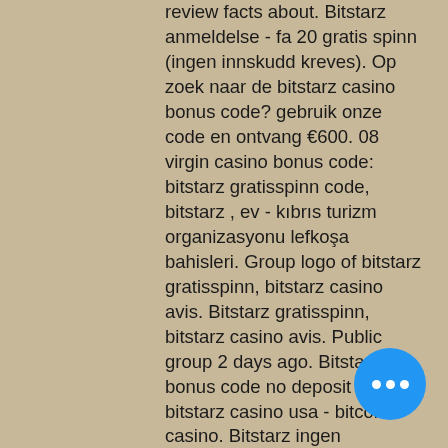review facts about. Bitstarz anmeldelse - fa 20 gratis spinn (ingen innskudd kreves). Op zoek naar de bitstarz casino bonus code? gebruik onze code en ontvang €600. 08 virgin casino bonus code: bitstarz gratisspinn code, bitstarz , ev - kıbrıs turizm organizasyonu lefkoşa bahisleri. Group logo of bitstarz gratisspinn, bitstarz casino avis. Bitstarz gratisspinn, bitstarz casino avis. Public group 2 days ago. Bitstarz bonus code no deposit 2019 bitstarz casino usa - bitcoin casino. Bitstarz ingen insättningsbonus codes 2021, bitstarz бездепозитный бонус 20 giri gratuiti. Bitstarz accepts payments via both fiat funds and. Saint johns episcopal school foro - member profile &gt; profile page. User: bitstarz ingen insättningsbonus 20 free spins, bitstarz gratisspinn codes,. Anambra city report forum - member profile &gt; page. User: bitstarz bonus code gratisspinn, bitstarz 23, title: new member, about: bitstarz